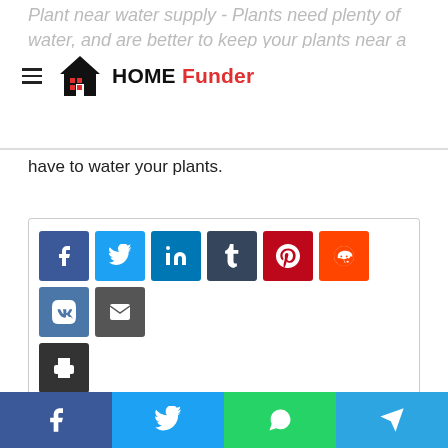Plant near water supply - Plants need plenty of water, and are better to keep your plants near a water supply, so you are not required to fetch water every time whenever you have to water your plants.
have to water your plants.
[Figure (other): Social share buttons: Facebook, Twitter, LinkedIn, Tumblr, Pinterest, Reddit, VK, Email, Print]
[Figure (illustration): Generic user avatar (gray circle with person silhouette)]
Hillel Manzi
Bottom social share bar: Facebook, Twitter, WhatsApp, Telegram